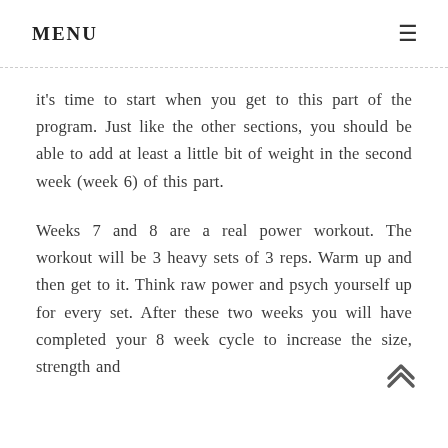MENU
it's time to start when you get to this part of the program. Just like the other sections, you should be able to add at least a little bit of weight in the second week (week 6) of this part.
Weeks 7 and 8 are a real power workout. The workout will be 3 heavy sets of 3 reps. Warm up and then get to it. Think raw power and psych yourself up for every set. After these two weeks you will have completed your 8 week cycle to increase the size, strength and